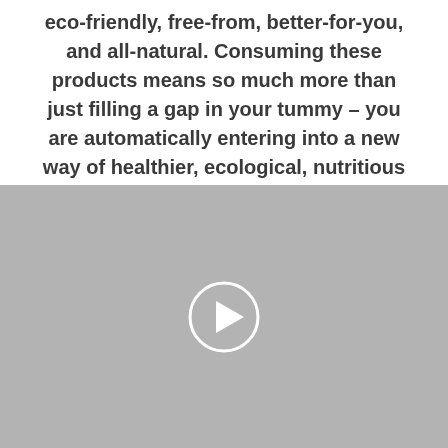eco-friendly, free-from, better-for-you, and all-natural. Consuming these products means so much more than just filling a gap in your tummy – you are automatically entering into a new way of healthier, ecological, nutritious living.
[Figure (other): Gray video placeholder with a circular white play button in the center]